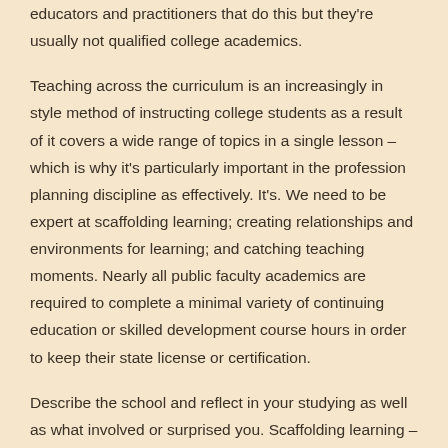educators and practitioners that do this but they're usually not qualified college academics.
Teaching across the curriculum is an increasingly in style method of instructing college students as a result of it covers a wide range of topics in a single lesson – which is why it's particularly important in the profession planning discipline as effectively. It's. We need to be expert at scaffolding learning; creating relationships and environments for learning; and catching teaching moments. Nearly all public faculty academics are required to complete a minimal variety of continuing education or skilled development course hours in order to keep their state license or certification.
Describe the school and reflect in your studying as well as what involved or surprised you. Scaffolding learning – providing individuals with momentary assist in order that